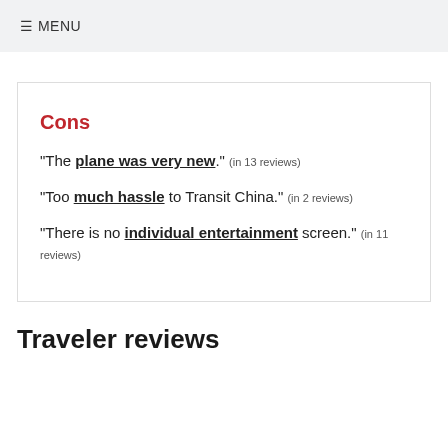≡ MENU
Cons
"The plane was very new." (in 13 reviews)
"Too much hassle to Transit China." (in 2 reviews)
"There is no individual entertainment screen." (in 11 reviews)
Traveler reviews